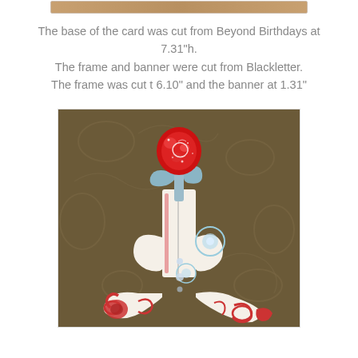[Figure (photo): Top strip image partially visible at top of page - appears to be a cropped photo with warm brown/tan tones]
The base of the card was cut from Beyond Birthdays at 7.31"h.
The frame and banner were cut from Blackletter.
The frame was cut t 6.10" and the banner at 1.31"
[Figure (photo): Photo of a handmade craft card piece featuring a decorative flower (rose) with glittery red petals and light blue leaves/stem in a vase shape with ornate red scrollwork at the base, set against a brown embossed background]